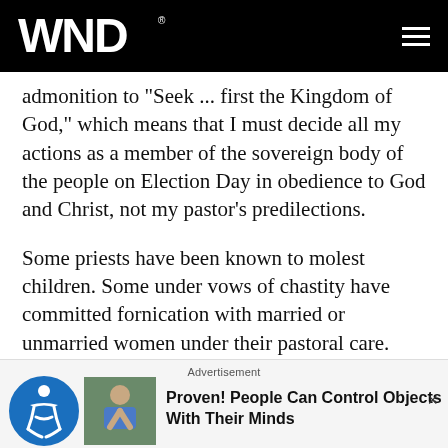WND
admonition to "Seek ... first the Kingdom of God," which means that I must decide all my actions as a member of the sovereign body of the people on Election Day in obedience to God and Christ, not my pastor's predilections.
Some priests have been known to molest children. Some under vows of chastity have committed fornication with married or unmarried women under their pastoral care. This includes even popes, like Alexander VI, father to the demonic tyrant Cesare Borgia, whom that duke of political immorality, Niccolo Machiavelli, held up as th subject in his famous "mirror for princes." With all the...
[Figure (other): Advertisement banner at bottom: accessibility icon on left, photo of man, text reading 'Proven! People Can Control Objects With Their Minds']